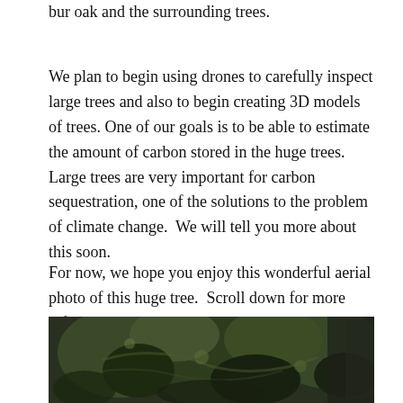bur oak and the surrounding trees.
We plan to begin using drones to carefully inspect large trees and also to begin creating 3D models of trees. One of our goals is to be able to estimate the amount of carbon stored in the huge trees. Large trees are very important for carbon sequestration, one of the solutions to the problem of climate change.  We will tell you more about this soon.
For now, we hope you enjoy this wonderful aerial photo of this huge tree.  Scroll down for more information about our drone use.
[Figure (photo): Aerial photo of a large tree canopy viewed from above, showing dark green foliage with branches visible.]